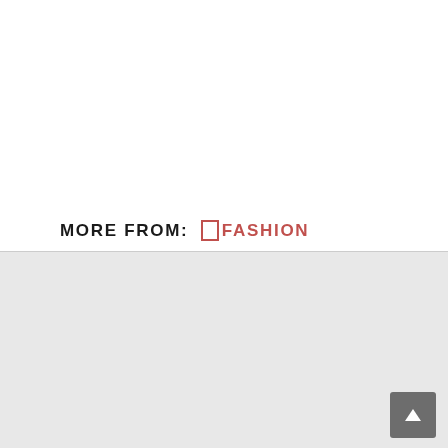MORE FROM: �FASHION
[Figure (other): Gray placeholder content area with a back-to-top arrow button in the bottom right corner]